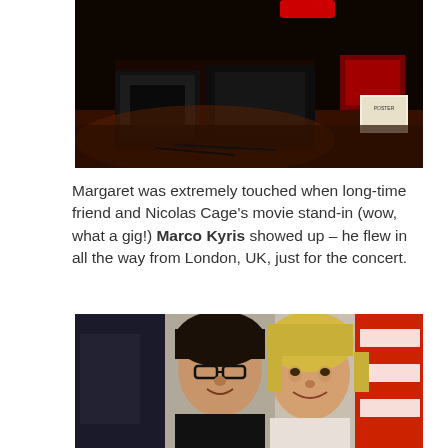[Figure (photo): A dark photo of a stage setup with equipment, speakers, and amplifiers in a dimly lit venue with warm reddish light on the floor.]
Margaret was extremely touched when long-time friend and Nicolas Cage's movie stand-in (wow, what a gig!) Marco Kyris showed up – he flew in all the way from London, UK, just for the concert.
[Figure (photo): A photo of two people smiling together – a man with dark hair and glasses on the left, and a woman with blonde hair on the right. Red and white elements visible in background.]